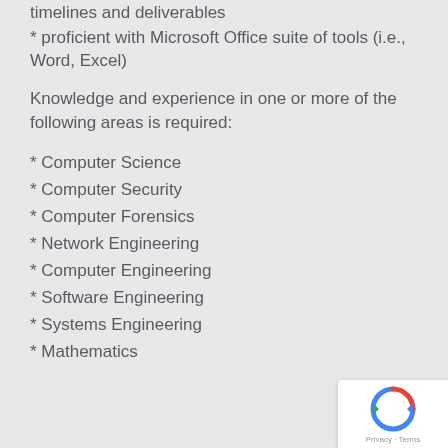* timelines and deliverables
* proficient with Microsoft Office suite of tools (i.e., Word, Excel)
Knowledge and experience in one or more of the following areas is required:
* Computer Science
* Computer Security
* Computer Forensics
* Network Engineering
* Computer Engineering
* Software Engineering
* Systems Engineering
* Mathematics